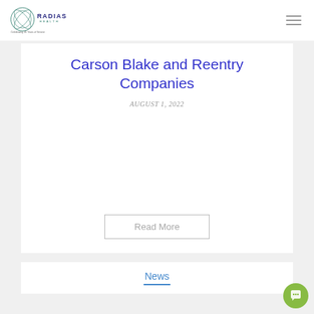Radias Health — Celebrating 35 Years of Service
Carson Blake and Reentry Companies
AUGUST 1, 2022
Read More
News